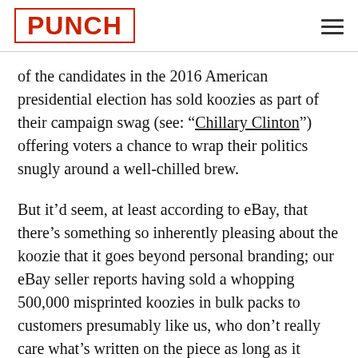PUNCH
of the candidates in the 2016 American presidential election has sold koozies as part of their campaign swag (see: “Chillary Clinton”) offering voters a chance to wrap their politics snugly around a well-chilled brew.
But it’d seem, at least according to eBay, that there’s something so inherently pleasing about the koozie that it goes beyond personal branding; our eBay seller reports having sold a whopping 500,000 misprinted koozies in bulk packs to customers presumably like us, who don’t really care what’s written on the piece as long as it performs at summer barbecues.